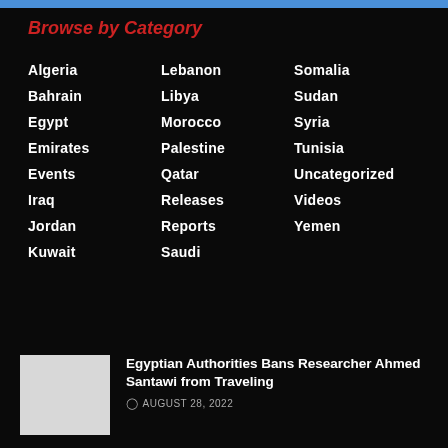Browse by Category
Algeria
Lebanon
Somalia
Bahrain
Libya
Sudan
Egypt
Morocco
Syria
Emirates
Palestine
Tunisia
Events
Qatar
Uncategorized
Iraq
Releases
Videos
Jordan
Reports
Yemen
Kuwait
Saudi
Egyptian Authorities Bans Researcher Ahmed Santawi from Traveling
AUGUST 28, 2022